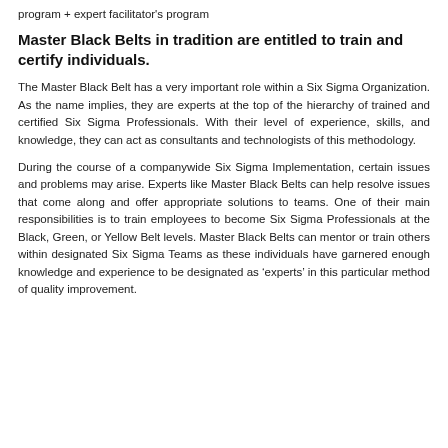program + expert facilitator's program
Master Black Belts in tradition are entitled to train and certify individuals.
The Master Black Belt has a very important role within a Six Sigma Organization. As the name implies, they are experts at the top of the hierarchy of trained and certified Six Sigma Professionals. With their level of experience, skills, and knowledge, they can act as consultants and technologists of this methodology.
During the course of a companywide Six Sigma Implementation, certain issues and problems may arise. Experts like Master Black Belts can help resolve issues that come along and offer appropriate solutions to teams. One of their main responsibilities is to train employees to become Six Sigma Professionals at the Black, Green, or Yellow Belt levels. Master Black Belts can mentor or train others within designated Six Sigma Teams as these individuals have garnered enough knowledge and experience to be designated as ‘experts’ in this particular method of quality improvement.